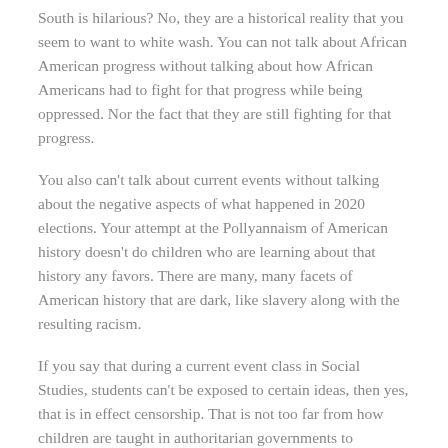South is hilarious? No, they are a historical reality that you seem to want to white wash. You can not talk about African American progress without talking about how African Americans had to fight for that progress while being oppressed. Nor the fact that they are still fighting for that progress.
You also can't talk about current events without talking about the negative aspects of what happened in 2020 elections. Your attempt at the Pollyannaism of American history doesn't do children who are learning about that history any favors. There are many, many facets of American history that are dark, like slavery along with the resulting racism.
If you say that during a current event class in Social Studies, students can't be exposed to certain ideas, then yes, that is in effect censorship. That is not too far from how children are taught in authoritarian governments to...